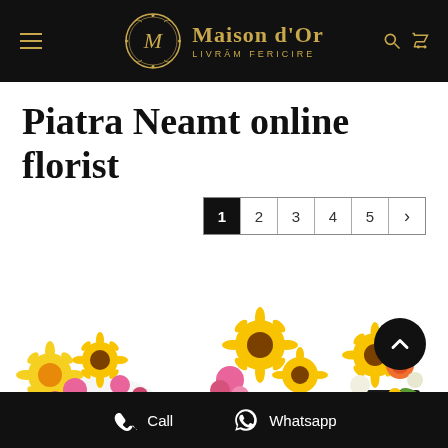[Figure (logo): Maison d'Or florist website header with logo, hamburger menu, search and cart icons on black background]
Piatra Neamt online florist
[Figure (screenshot): Pagination bar showing pages 1 (active/black), 2, 3, 4, 5 and a next arrow]
[Figure (photo): Three flower bouquets featuring sunflowers, pink flowers, and mixed arrangements on white background]
Call   Whatsapp